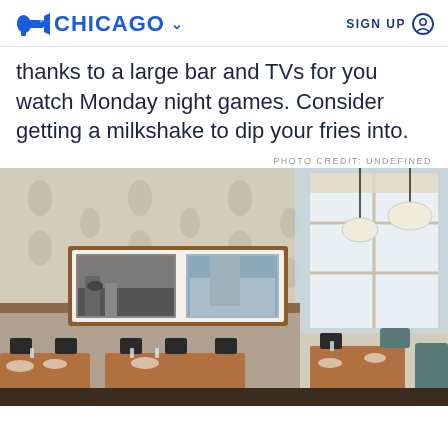CHICAGO SIGN UP
thanks to a large bar and TVs for you watch Monday night games. Consider getting a milkshake to dip your fries into.
PHOTO CREDIT: UNDEFINED
[Figure (photo): Interior of a restaurant with patterned wallpaper, framed black-and-white photos on dark wood paneling, wooden tables with black chairs, pendant lights, and large windows.]